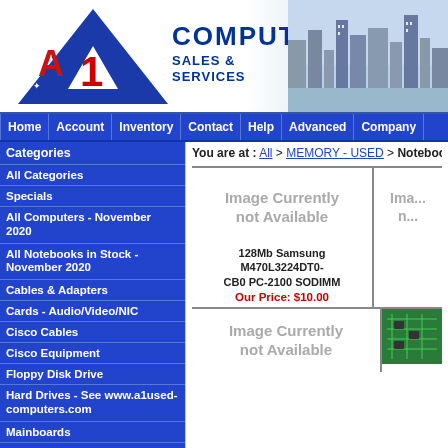[Figure (logo): A1 Computer Sales & Services logo with Australian stars on blue triangle, red/white '1' numeral, and city skyline background]
COMPUTER SALES & SERVICES
Home
Account
Inventory
Contact
Help
Advanced
Company
Categories
All Categories
Specials
All Computers - November 2020
All Notebooks in Stock - November 2020
Cables & Adapters
Cards - Audio/Video/NIC
Cisco Cables
Cisco Equipment
Floppy Disk Drive
Hard Drives - See www.a1used-computers.com
Mainboards
Media - Tapes & Disks
MEMORY - USED
Modems (External Standard & ADSL)
Monitors and LCD Screens
You are at : All > MEMORY - USED > Notebook M...
[Figure (photo): Image Currently not Available placeholder for 128Mb Samsung M470L3224DT0-CB0 PC-2100 SODIMM]
128Mb Samsung M470L3224DT0-CB0 PC-2100 SODIMM
Our Price: $10.00
[Figure (photo): Partial image - truncated on right edge]
[Figure (photo): Image Currently not Available placeholder for second product row]
[Figure (photo): Green circuit board partial image on right side]